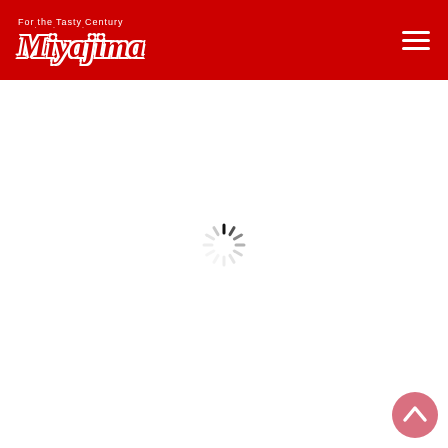For the Tasty Century Miyajima — navigation header with logo and hamburger menu
[Figure (other): Loading spinner (animated loading indicator) centered on white page body]
[Figure (other): Back-to-top button (upward chevron in pinkish-red circle) at bottom right corner]